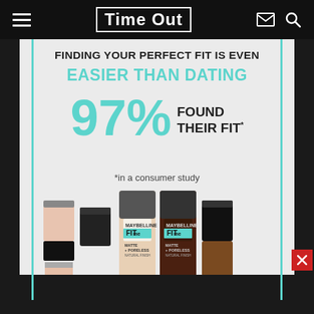Time Out
[Figure (infographic): Maybelline Fit Me foundation advertisement. White background with teal vertical accent lines. Text reads: FINDING YOUR PERFECT FIT IS EVEN EASIER THAN DATING. 97% FOUND THEIR FIT*. *in a consumer study. Product image shows multiple Maybelline Fit Me Matte + Poreless foundation bottles in various shades from light to dark.]
FINDING YOUR PERFECT FIT IS EVEN
EASIER THAN DATING
97% FOUND THEIR FIT*
*in a consumer study